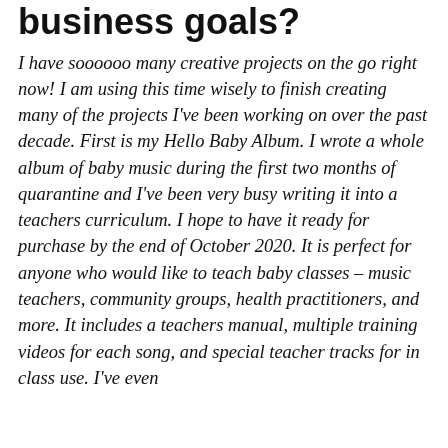business goals?
I have soooooo many creative projects on the go right now!  I am using this time wisely to finish creating many of the projects I've been working on over the past decade. First is my Hello Baby Album.  I wrote a whole album of baby music during the first two months of quarantine and I've been very busy writing it into a teachers curriculum.  I hope to have it ready for purchase by the end of October 2020.  It is perfect for anyone who would like to teach baby classes – music teachers, community groups, health practitioners, and more.  It includes a teachers manual, multiple training videos for each song, and special teacher tracks for in class use.  I've even